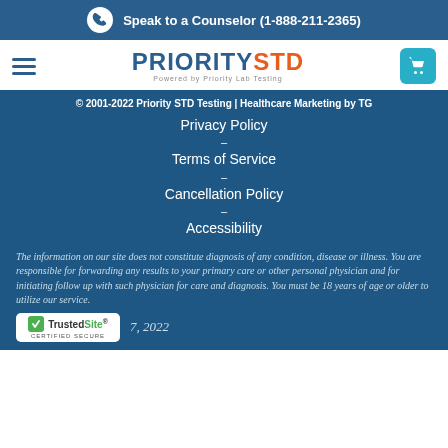Speak to a Counselor (1-888-211-2365)
[Figure (logo): PrioritySTD logo with text Powered by Priority Lab Testing and navigation elements including hamburger menu and cart button]
© 2001-2022 Priority STD Testing | Healthcare Marketing by TG
Privacy Policy
Terms of Service
Cancellation Policy
Accessibility
The information on our site does not constitute diagnosis of any condition, disease or illness. You are responsible for forwarding any results to your primary care or other personal physician and for initiating follow up with such physician for care and diagnosis. You must be 18 years of age or older to utilize our service.
7, 2022